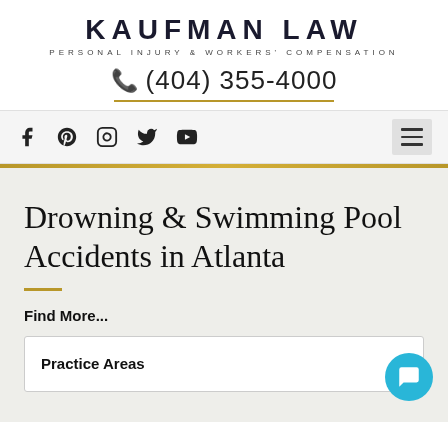KAUFMAN LAW
PERSONAL INJURY & WORKERS' COMPENSATION
(404) 355-4000
[Figure (screenshot): Navigation bar with social media icons (Facebook, Pinterest, Instagram, Twitter, YouTube) and hamburger menu]
Drowning & Swimming Pool Accidents in Atlanta
Find More...
Practice Areas